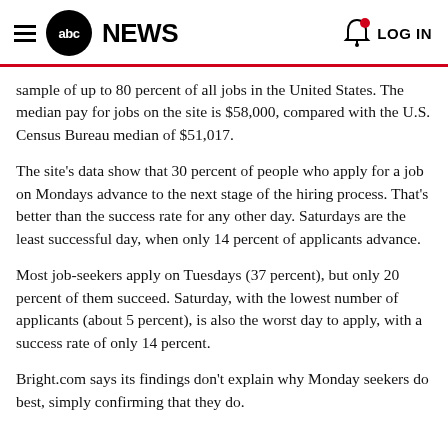abc NEWS  LOG IN
sample of up to 80 percent of all jobs in the United States. The median pay for jobs on the site is $58,000, compared with the U.S. Census Bureau median of $51,017.
The site's data show that 30 percent of people who apply for a job on Mondays advance to the next stage of the hiring process. That's better than the success rate for any other day. Saturdays are the least successful day, when only 14 percent of applicants advance.
Most job-seekers apply on Tuesdays (37 percent), but only 20 percent of them succeed. Saturday, with the lowest number of applicants (about 5 percent), is also the worst day to apply, with a success rate of only 14 percent.
Bright.com says its findings don't explain why Monday seekers do best, simply confirming that they do.